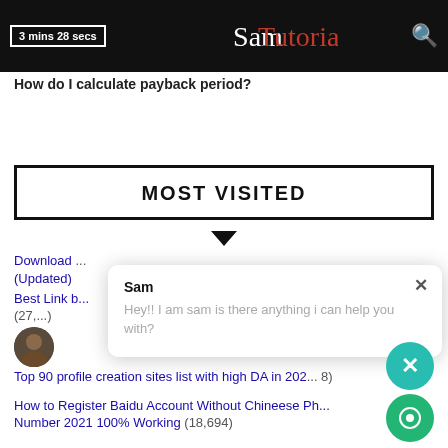3 mins 28 secs | Sam Tutorials
How do I calculate payback period?
MOST VISITED
Download ... (Updated)
Best Link b... (27,...)
Top 90 profile creation sites list with high DA in 2021... (8)
How to Register Baidu Account Without Chineese Ph... Number 2021 100% Working (18,694)
[Figure (screenshot): Chat popup from 'Sam' saying 'Hey!! I am sam is there anything i can help you with?']
[Figure (photo): Small circular avatar photo of a person]
[Figure (illustration): Teal circular close button with X, and green circular chat button]